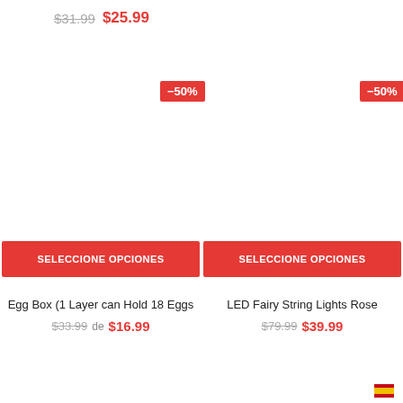$31.99  $25.99
-50%
-50%
SELECCIONE OPCIONES
SELECCIONE OPCIONES
Egg Box (1 Layer can Hold 18 Eggs
$33.99  de $16.99
LED Fairy String Lights Rose
$79.99  $39.99